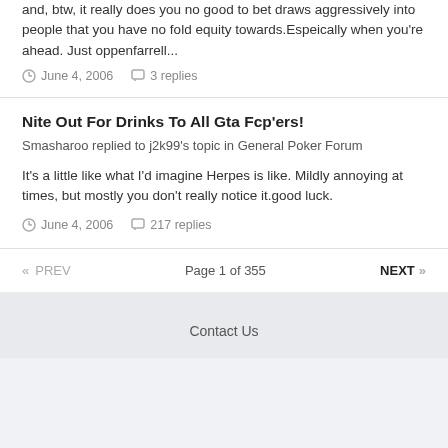and, btw, it really does you no good to bet draws aggressively into people that you have no fold equity towards.Espeically when you're ahead. Just oppenfarrell...
June 4, 2006   3 replies
Nite Out For Drinks To All Gta Fcp'ers!
Smasharoo replied to j2k99's topic in General Poker Forum
It's a little like what I'd imagine Herpes is like. Mildly annoying at times, but mostly you don't really notice it.good luck.
June 4, 2006   217 replies
« PREV   Page 1 of 355   NEXT »
Contact Us